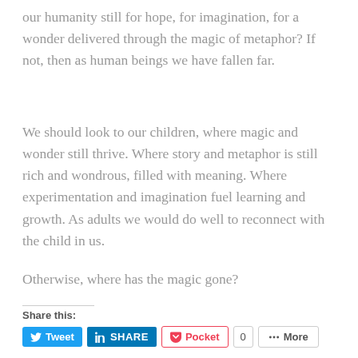our humanity still for hope, for imagination, for a wonder delivered through the magic of metaphor? If not, then as human beings we have fallen far.
We should look to our children, where magic and wonder still thrive. Where story and metaphor is still rich and wondrous, filled with meaning. Where experimentation and imagination fuel learning and growth. As adults we would do well to reconnect with the child in us.
Otherwise, where has the magic gone?
Share this:
[Figure (other): Social share buttons: Tweet (Twitter), SHARE (LinkedIn), Pocket with count 0, More]